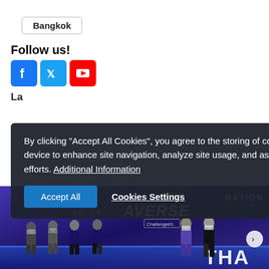Bangkok
Follow us!
[Figure (illustration): Social media icons: Facebook (blue), Twitter (blue), YouTube (red)]
La
By clicking "Accept All Cookies", you agree to the storing of cookies on your device to enhance site navigation, analyze site usage, and assist in our marketing efforts. Additional Information
Accept All
Cookies Settings
[Figure (photo): Group of young people standing on a stage with purple/blue lighting. Background shows Thailand Sport Metaverse Challenge #1 branding and The Nation Thailand logo.]